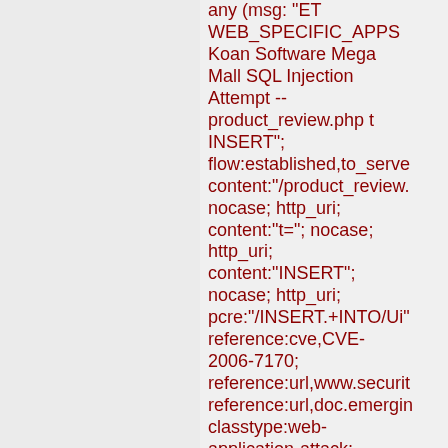any (msg: "ET WEB_SPECIFIC_APPS Koan Software Mega Mall SQL Injection Attempt -- product_review.php t INSERT"; flow:established,to_server; content:"/product_review. nocase; http_uri; content:"t="; nocase; http_uri; content:"INSERT"; nocase; http_uri; pcre:"/INSERT.+INTO/Ui" reference:cve,CVE-2006-7170; reference:url,www.securit reference:url,doc.emergin classtype:web-application-attack; sid:2004273; rev:8; metadata:affected_produ Web_Server_Application